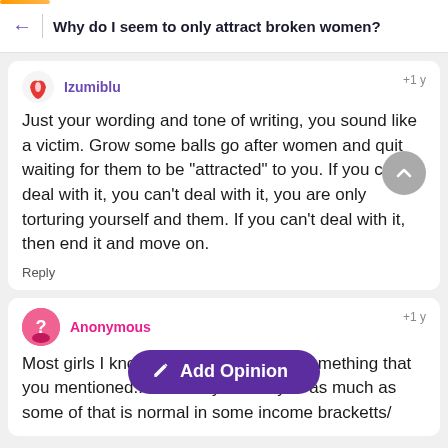Why do I seem to only attract broken women?
Izumiblu
+1 y
Just your wording and tone of writing, you sound like a victim. Grow some balls go after women and quit waiting for them to be "attracted" to you. If you can't deal with it, you can't deal with it, you are only torturing yourself and them. If you can't deal with it, then end it and move on.
Reply
Anonymous
+1 y
Most girls I know have been through something that you mentioned... so it may not be you as much as some of that is normal in some income bracketts/